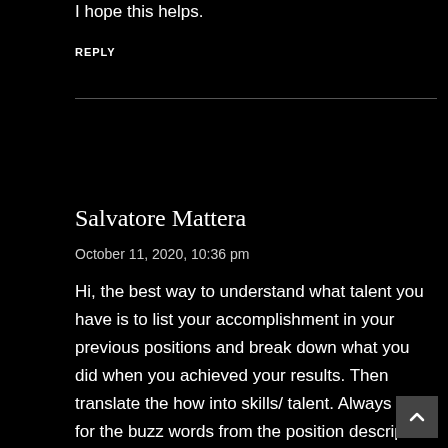I hope this helps.
REPLY
Salvatore Mattera
October 11, 2020, 10:36 pm
Hi, the best way to understand what talent you have is to list your accomplishment in your previous positions and break down what you did when you achieved your results. Then translate the how into skills/ talent. Always look for the buzz words from the position description or online for similar positions.